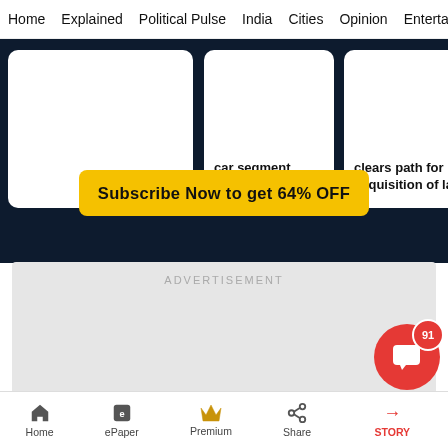Home  Explained  Political Pulse  India  Cities  Opinion  Entertainment
car segment pushes back
clears path for acquisition of la
Subscribe Now to get 64% OFF
ADVERTISEMENT
Home  ePaper  Premium  Share  STORY